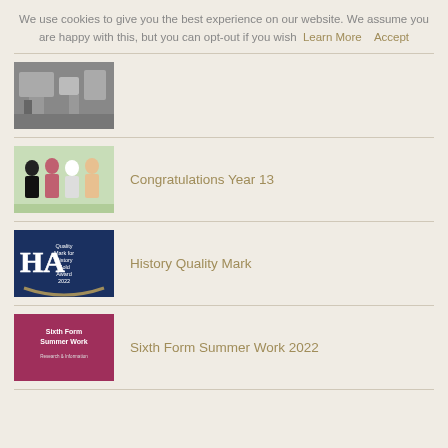We use cookies to give you the best experience on our website. We assume you are happy with this, but you can opt-out if you wish  Learn More      Accept
[Figure (photo): Thumbnail image of industrial or laboratory equipment]
[Figure (photo): Thumbnail image of students at a Year 13 event or prom]
Congratulations Year 13
[Figure (logo): History Quality Mark for History Gold Award 2022 logo with HA initials]
History Quality Mark
[Figure (photo): Sixth Form Summer Work thumbnail with text 'Sixth Form Summer Work Research & Information' on a pink/maroon background]
Sixth Form Summer Work 2022